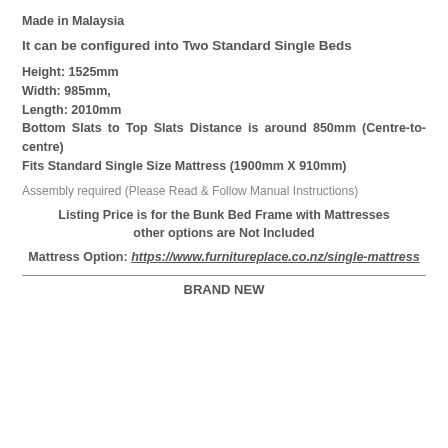Made in Malaysia
It can be configured into Two Standard Single Beds
Height: 1525mm
Width: 985mm,
Length: 2010mm
Bottom Slats to Top Slats Distance is around 850mm (Centre-to-centre)
Fits Standard Single Size Mattress (1900mm X 910mm)
Assembly required (Please Read & Follow Manual Instructions)
Listing Price is for the Bunk Bed Frame with Mattresses other options are Not Included
Mattress Option: https://www.furnitureplace.co.nz/single-mattress
BRAND NEW